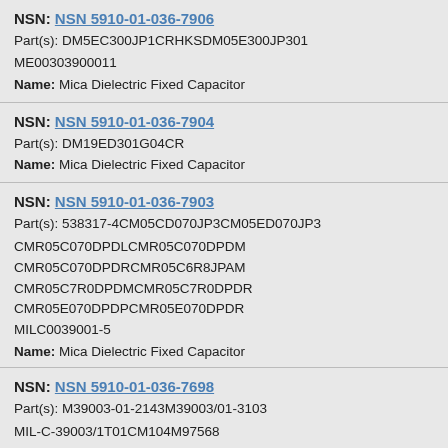NSN: NSN 5910-01-036-7906
Part(s): DM5EC300JP1CRHKSDM05E300JP301
ME00303900011
Name: Mica Dielectric Fixed Capacitor
NSN: NSN 5910-01-036-7904
Part(s): DM19ED301G04CR
Name: Mica Dielectric Fixed Capacitor
NSN: NSN 5910-01-036-7903
Part(s): 538317-4CM05CD070JP3CM05ED070JP3 CMR05C070DPDLCMR05C070DPDM CMR05C070DPDRCMR05C6R8JPAM CMR05C7R0DPDMCMR05C7R0DPDR CMR05E070DPDPCMR05E070DPDR MILC0039001-5
Name: Mica Dielectric Fixed Capacitor
NSN: NSN 5910-01-036-7698
Part(s): M39003-01-2143M39003/01-3103
MIL-C-39003/1T01CM104M97568